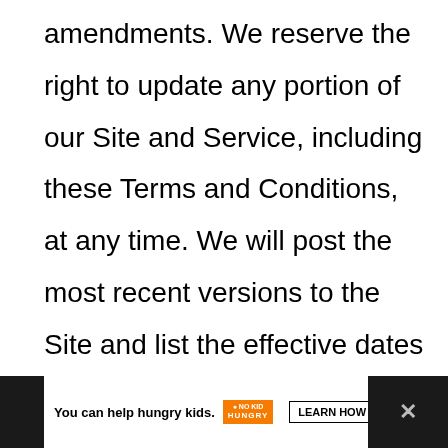amendments. We reserve the right to update any portion of our Site and Service, including these Terms and Conditions, at any time. We will post the most recent versions to the Site and list the effective dates on the pages of our Terms and Conditions.
[Figure (other): Advertisement banner: 'You can help hungry kids.' with No Kid Hungry logo and LEARN HOW button on dark background]